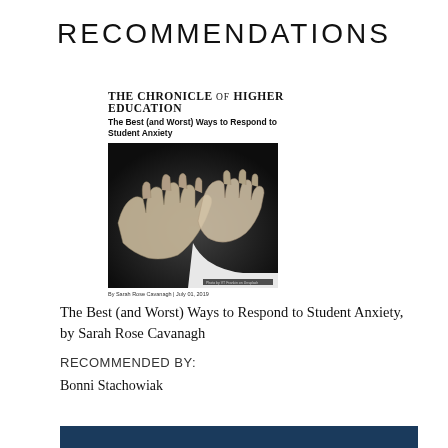RECOMMENDATIONS
[Figure (screenshot): Screenshot of The Chronicle of Higher Education article titled 'The Best (and Worst) Ways to Respond to Student Anxiety' with a black and white photo of two hands (one adult, one child) reaching toward each other, byline by Sarah Rose Cavanagh]
The Best (and Worst) Ways to Respond to Student Anxiety, by Sarah Rose Cavanagh
RECOMMENDED BY:
Bonni Stachowiak